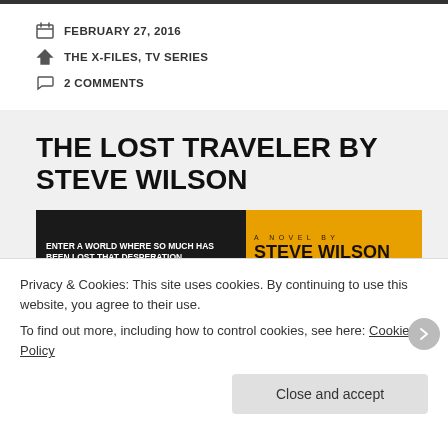FEBRUARY 27, 2016
THE X-FILES, TV SERIES
2 COMMENTS
THE LOST TRAVELER BY STEVE WILSON
[Figure (photo): Book cover for The Lost Traveler by Steve Wilson. Left side: dark background with text 'ENTER A WORLD WHERE SO MUCH HAS BEEN LOST THAT DESPERATION HAS A NEW MEANING....'. Right side: orange/yellow background with 'A NOVEL BY STEVE WILSON THE...']
Privacy & Cookies: This site uses cookies. By continuing to use this website, you agree to their use.
To find out more, including how to control cookies, see here: Cookie Policy
Close and accept